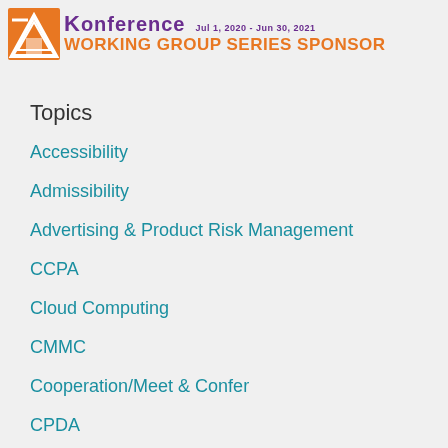[Figure (logo): Conference working group series sponsor banner with logo, title 'Conference', date 'Jul 1, 2020 - Jun 30, 2021', and subtitle 'WORKING GROUP SERIES SPONSOR']
Topics
Accessibility
Admissibility
Advertising & Product Risk Management
CCPA
Cloud Computing
CMMC
Cooperation/Meet & Confer
CPDA
Criminal Law